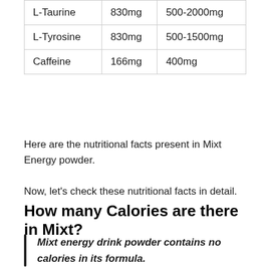| L-Taurine | 830mg | 500-2000mg |
| L-Tyrosine | 830mg | 500-1500mg |
| Caffeine | 166mg | 400mg |
Here are the nutritional facts present in Mixt Energy powder.
Now, let's check these nutritional facts in detail.
How many Calories are there in Mixt?
Mixt energy drink powder contains no calories in its formula.